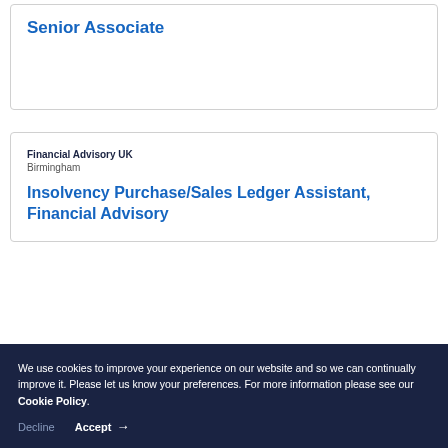Senior Associate
Financial Advisory UK
Birmingham
Insolvency Purchase/Sales Ledger Assistant, Financial Advisory
We use cookies to improve your experience on our website and so we can continually improve it. Please let us know your preferences. For more information please see our Cookie Policy.
Decline   Accept →